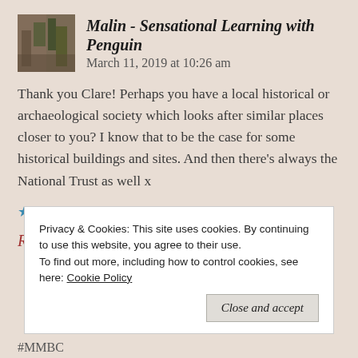Malin - Sensational Learning with Penguin   March 11, 2019 at 10:26 am
Thank you Clare! Perhaps you have a local historical or archaeological society which looks after similar places closer to you? I know that to be the case for some historical buildings and sites. And then there’s always the National Trust as well x
★ Like
Reply
Privacy & Cookies: This site uses cookies. By continuing to use this website, you agree to their use.
To find out more, including how to control cookies, see here: Cookie Policy
#MMBC